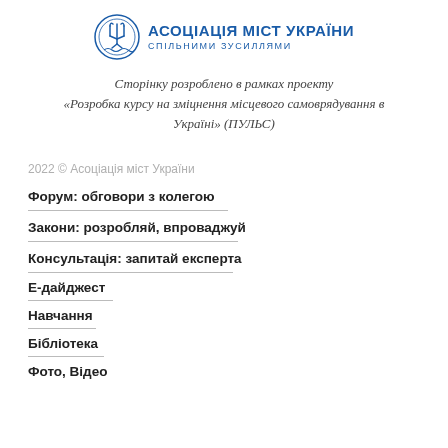[Figure (logo): Association of Cities of Ukraine logo with Ukrainian trident emblem and text АСОЦІАЦІЯ МІСТ УКРАЇНИ / СПІЛЬНИМИ ЗУСИЛЛЯМИ]
Сторінку розроблено в рамках проекту «Розробка курсу на зміцнення місцевого самоврядування в Україні» (ПУЛЬС)
2022 © Асоціація міст України
Форум: обговори з колегою
Закони: розробляй, впроваджуй
Консультація: запитай експерта
Е-дайджест
Навчання
Бібліотека
Фото, Відео